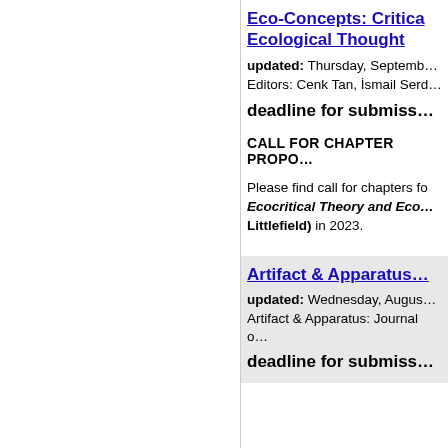Eco-Concepts: Critical Ecological Thought
updated: Thursday, Septemb…
Editors: Cenk Tan, İsmail Serd…
deadline for submiss…
CALL FOR CHAPTER PROPO…
Please find call for chapters fo…
Ecocritical Theory and Eco… Littlefield) in 2023.
Artifact & Apparatus…
updated: Wednesday, Augus…
Artifact & Apparatus: Journal o…
deadline for submiss…